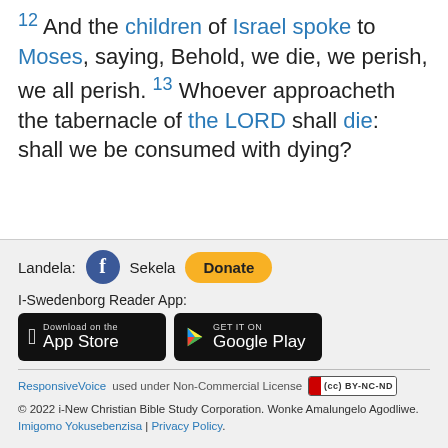12 And the children of Israel spoke to Moses, saying, Behold, we die, we perish, we all perish. 13 Whoever approacheth the tabernacle of the LORD shall die: shall we be consumed with dying?
Landela: [Facebook] Sekela [Donate]
I-Swedenborg Reader App:
[Figure (other): App Store and Google Play download badges]
ResponsiveVoice used under Non-Commercial License [CC BY-NC-ND badge]
© 2022 i-New Christian Bible Study Corporation. Wonke Amalungelo Agodliwe. Imigomo Yokusebenzisa | Privacy Policy.